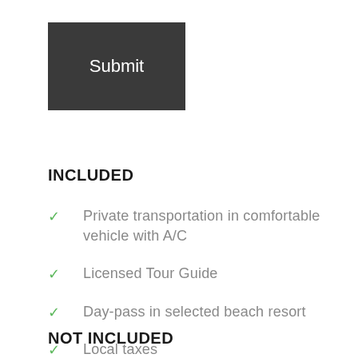[Figure (other): Dark gray submit button with white text reading 'Submit']
INCLUDED
Private transportation in comfortable vehicle with A/C
Licensed Tour Guide
Day-pass in selected beach resort
Local taxes
NOT INCLUDED